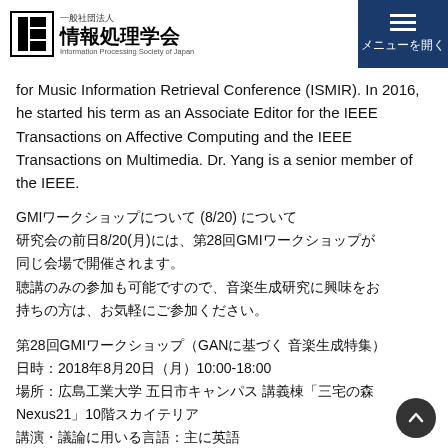一般社団法人 情報処理学会 Information Processing Society of Japan | メニューを開く
for Music Information Retrieval Conference (ISMIR). In 2016, he started his term as an Associate Editor for the IEEE Transactions on Affective Computing and the IEEE Transactions on Multimedia. Dr. Yang is a senior member of the IEEE.
GMIワークショップについて (8/20) について
研究会の前日8/20(月)には、第28回GMIワークショップが同じ会場で開催されます。
聴講のみの参加も可能ですので、音楽生成研究に興味をお持ちの方は、お気軽にご参加ください。
第28回GMIワークショップ（GANに基づく 音楽生成特集）
日時：2018年8月20日（月）10:00-18:00
場所：広島工業大学 五日市キャンパス 講義棟「三宅の森 Nexus21」10階スカイテリア
講演・議論に用いる言語：主に英語